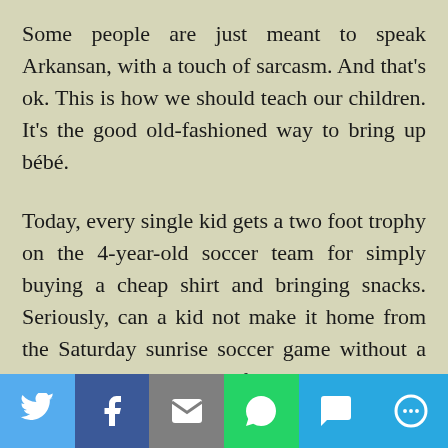Some people are just meant to speak Arkansan, with a touch of sarcasm. And that's ok. This is how we should teach our children. It's the good old-fashioned way to bring up bébé.
Today, every single kid gets a two foot trophy on the 4-year-old soccer team for simply buying a cheap shirt and bringing snacks. Seriously, can a kid not make it home from the Saturday sunrise soccer game without a berry razzle boo blitz fruit roll-up and an apple juice box? And then afterward, the harried parents are peer-pressured into driving to Ci-Ci's Pizza for lunch
[Figure (infographic): Social media share bar with buttons for Twitter, Facebook, Email, WhatsApp, SMS, and More]